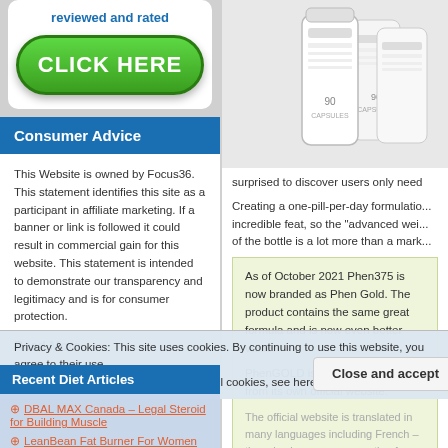[Figure (illustration): Green CLICK HERE button with rounded corners and gradient, above text 'reviewed and rated']
Consumer Advice
This Website is owned by Focus36. This statement identifies this site as a participant in affiliate marketing. If a banner or link is followed it could result in commercial gain for this website. This statement is intended to demonstrate our transparency and legitimacy and is for consumer protection.
Read More
[Figure (photo): White supplement bottles product photo]
surprised to discover users only need
Creating a one-pill-per-day formulatio... incredible feat, so the "advanced wei... of the bottle is a lot more than a mark...
As of October 2021 Phen375 is now branded as Phen Gold. The product contains the same great formula and is now even better value.
PhenGOLD is available exclusively from its own official website.
The official website is translated in many languages including French – there is also a currency option for CADS
The best value special offer recently is buying 4 and getting...
Privacy & Cookies: This site uses cookies. By continuing to use this website, you agree to their use. To find out more, including how to control cookies, see here: Cookie Policy
Recent Diet Articles
DBAL MAX Canada – Legal Steroid for Building Muscle
LeanBean Fat Burner For Women
Skinny Body Max Review